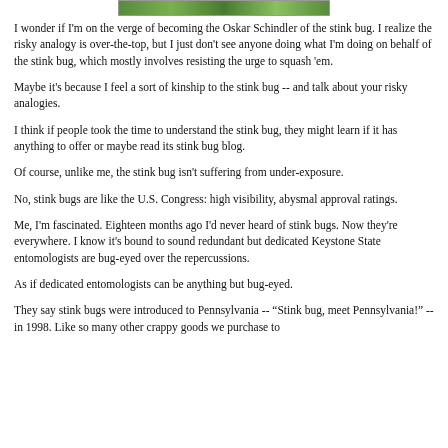[Figure (photo): Top portion of an outdoor photo, partially visible at the top of the page.]
I wonder if I'm on the verge of becoming the Oskar Schindler of the stink bug. I realize the risky analogy is over-the-top, but I just don't see anyone doing what I'm doing on behalf of the stink bug, which mostly involves resisting the urge to squash 'em.
Maybe it's because I feel a sort of kinship to the stink bug -- and talk about your risky analogies.
I think if people took the time to understand the stink bug, they might learn if it has anything to offer or maybe read its stink bug blog.
Of course, unlike me, the stink bug isn't suffering from under-exposure.
No, stink bugs are like the U.S. Congress: high visibility, abysmal approval ratings.
Me, I'm fascinated. Eighteen months ago I'd never heard of stink bugs. Now they're everywhere. I know it's bound to sound redundant but dedicated Keystone State entomologists are bug-eyed over the repercussions.
As if dedicated entomologists can be anything but bug-eyed.
They say stink bugs were introduced to Pennsylvania -- "Stink bug, meet Pennsylvania!" -- in 1998. Like so many other crappy goods we purchase to